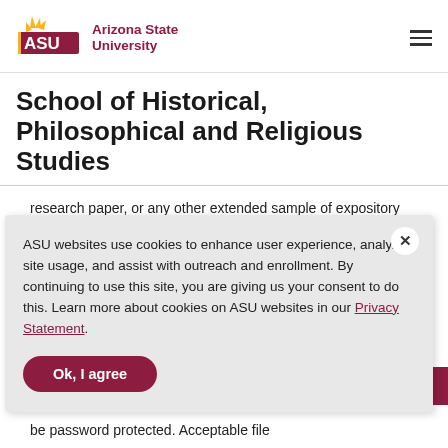[Figure (logo): Arizona State University logo with ASU text in maroon and gold sunburst, followed by 'Arizona State University' text]
School of Historical, Philosophical and Religious Studies
research paper, or any other extended sample of expository skill no longer than
ASU websites use cookies to enhance user experience, analyze site usage, and assist with outreach and enrollment. By continuing to use this site, you are giving us your consent to do this. Learn more about cookies on ASU websites in our Privacy Statement.
be password protected. Acceptable file